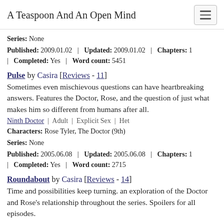A Teaspoon And An Open Mind
Series: None
Published: 2009.01.02  |  Updated: 2009.01.02  |  Chapters: 1  |  Completed: Yes  |  Word count: 5451
Pulse by Casira [Reviews - 11]
Sometimes even mischievous questions can have heartbreaking answers. Features the Doctor, Rose, and the question of just what makes him so different from humans after all.
Ninth Doctor  |  Adult  |  Explicit Sex  |  Het
Characters: Rose Tyler, The Doctor (9th)
Series: None
Published: 2005.06.08  |  Updated: 2005.06.08  |  Chapters: 1  |  Completed: Yes  |  Word count: 2715
Roundabout by Casira [Reviews - 14]
Time and possibilities keep turning. an exploration of the Doctor and Rose's relationship throughout the series. Spoilers for all episodes.